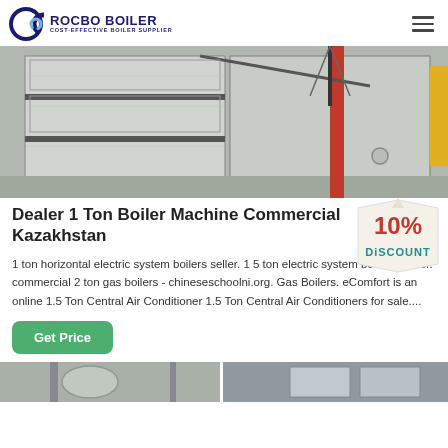ROCBO BOILER - COST-EFFECTIVE BOILER SUPPLIER
[Figure (photo): Industrial boiler equipment / manufacturing facility with large grey panels and a red vertical column structure]
Dealer 1 Ton Boiler Machine Commercial Kazakhstan
[Figure (infographic): 10% DISCOUNT badge/label graphic in red and teal text with pennant shape]
1 ton horizontal electric system boilers seller. 1 5 ton electric system boilers dealer. commercial 2 ton gas boilers - chineseschoolni.org. Gas Boilers. eComfort is an online 1.5 Ton Central Air Conditioner 1.5 Ton Central Air Conditioners for sale....
[Figure (photo): Bottom thumbnail strip showing partial images of boiler equipment]
Get Price